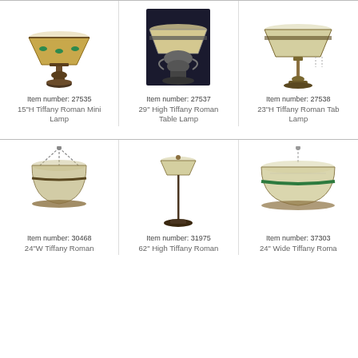[Figure (photo): Tiffany Roman Mini Lamp, item 27535, stained glass dome shade with green jewels on bronze base]
Item number: 27535
15"H Tiffany Roman Mini Lamp
[Figure (photo): 29 inch High Tiffany Roman Table Lamp, item 27537, large stained glass shade on ornate urn base, dark background photo]
Item number: 27537
29" High Tiffany Roman Table Lamp
[Figure (photo): 23 inch H Tiffany Roman Table Lamp, item 27538, wide stained glass dome shade on slender bronze pole base]
Item number: 27538
23"H Tiffany Roman Table Lamp
[Figure (photo): 24 inch W Tiffany Roman hanging pendant lamp, item 30468, stained glass bowl shade suspended by chains]
Item number: 30468
24"W Tiffany Roman
[Figure (photo): 62 inch High Tiffany Roman floor lamp, item 31975, stained glass shade on tall slender pole]
Item number: 31975
62" High Tiffany Roman
[Figure (photo): 24 inch Wide Tiffany Roman pendant lamp, item 37303, wide stained glass dome shade with green band, suspended by chain]
Item number: 37303
24" Wide Tiffany Roman